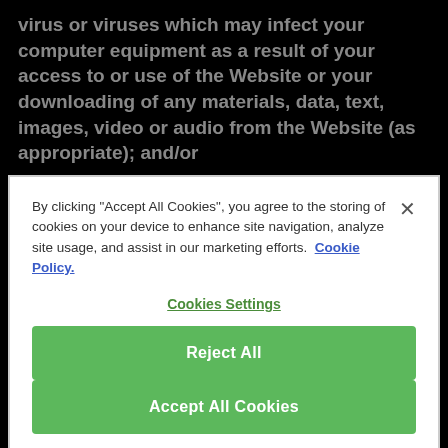virus or viruses which may infect your computer equipment as a result of your access to or use of the Website or your downloading of any materials, data, text, images, video or audio from the Website (as appropriate); and/or
10.5.3 any failure, any suspension and/or any termination of access to the Services or
By clicking "Accept All Cookies", you agree to the storing of cookies on your device to enhance site navigation, analyze site usage, and assist in our marketing efforts.  Cookie Policy.
Cookies Settings
Reject All
Accept All Cookies